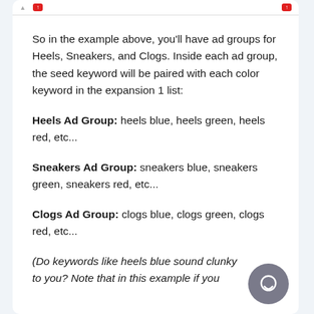So in the example above, you'll have ad groups for Heels, Sneakers, and Clogs. Inside each ad group, the seed keyword will be paired with each color keyword in the expansion 1 list:
Heels Ad Group: heels blue, heels green, heels red, etc...
Sneakers Ad Group: sneakers blue, sneakers green, sneakers red, etc...
Clogs Ad Group: clogs blue, clogs green, clogs red, etc...
(Do keywords like heels blue sound clunky to you? Note that in this example if you